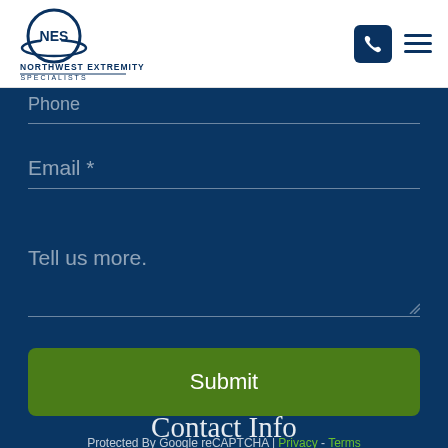[Figure (logo): Northwest Extremity Specialists logo with circular NES emblem and text below]
Phone
Email *
Tell us more.
Submit
Protected By Google reCAPTCHA | Privacy - Terms
Contact Info